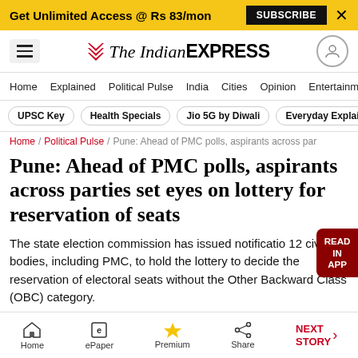Get Unlimited Access @ Rs 83/mon  SUBSCRIBE  X
The Indian EXPRESS — Home | Explained | Political Pulse | India | Cities | Opinion | Entertainment
UPSC Key | Health Specials | Jio 5G by Diwali | Everyday Explainers
Home / Political Pulse / Pune: Ahead of PMC polls, aspirants across par
Pune: Ahead of PMC polls, aspirants across parties set eyes on lottery for reservation of seats
The state election commission has issued notification 12 civic bodies, including PMC, to hold the lottery to decide the reservation of electoral seats without the Other Backward Class (OBC) category.
Home | ePaper | Premium | Share | NEXT STORY →